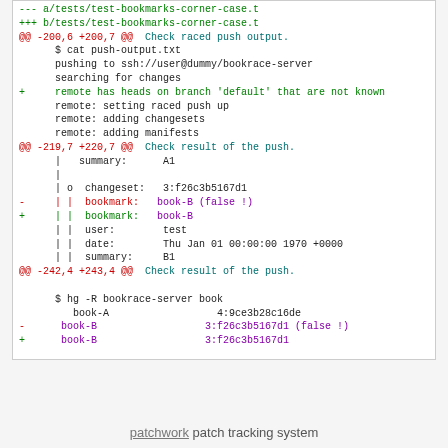[Figure (screenshot): Code diff showing changes to test-bookmarks-corner-case.t file, including diff headers, hunk headers, added/removed lines with git diff format coloring (green for additions, red for removals, cyan for context lines).]
patchwork patch tracking system